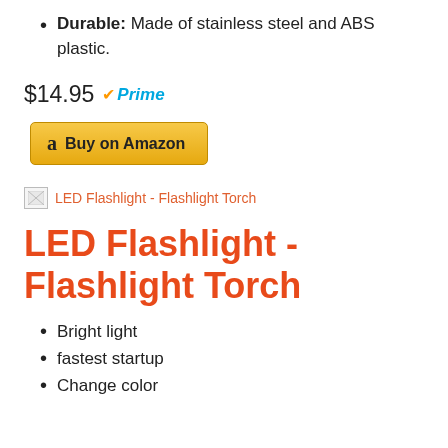Durable: Made of stainless steel and ABS plastic.
$14.95 Prime
[Figure (other): Buy on Amazon button with Amazon logo]
[Figure (other): Broken/placeholder image thumbnail for LED Flashlight - Flashlight Torch product]
LED Flashlight - Flashlight Torch
Bright light
fastest startup
Change color